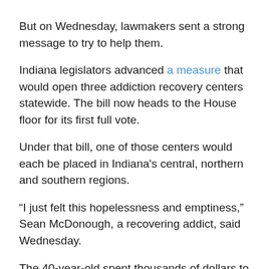But on Wednesday, lawmakers sent a strong message to try to help them.
Indiana legislators advanced a measure that would open three addiction recovery centers statewide. The bill now heads to the House floor for its first full vote.
Under that bill, one of those centers would each be placed in Indiana's central, northern and southern regions.
“I just felt this hopelessness and emptiness,” Sean McDonough, a recovering addict, said Wednesday.
The 40-year-old spent thousands of dollars to get his cocaine, booze and marijuana fix after he lost